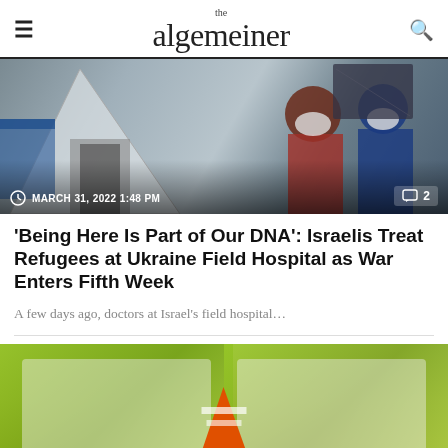the algemeiner
[Figure (photo): People in masks at a field hospital tent setting, timestamp MARCH 31, 2022 1:48 PM, comment count 2]
'Being Here Is Part of Our DNA': Israelis Treat Refugees at Ukraine Field Hospital as War Enters Fifth Week
A few days ago, doctors at Israel’s field hospital…
[Figure (photo): Two workers in yellow safety vests and protective gear near an orange traffic cone]